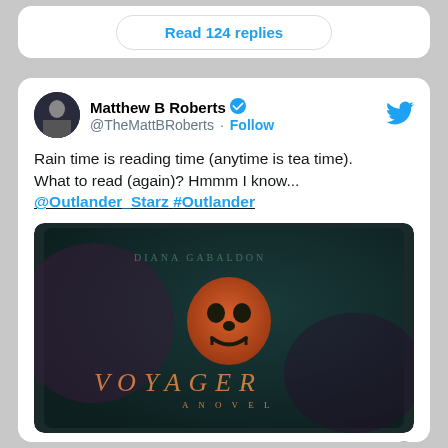Read 124 replies
[Figure (screenshot): Twitter profile avatar for Matthew B Roberts - dark photo of person]
Matthew B Roberts @TheMattBRoberts · Follow
Rain time is reading time (anytime is tea time). What to read (again)? Hmmm I know... @Outlander_Starz #Outlander
[Figure (photo): Photo of the Voyager book cover by Diana Gabaldon - dark green cover with orange skull design and text VOYAGER A NOVEL]
10:29 AM · Nov 29, 2015